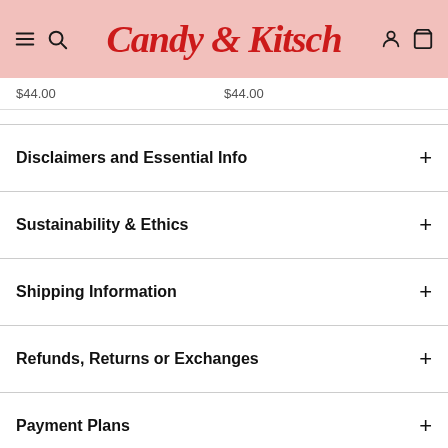Candy & Kitsch
$44.00   $44.00
Disclaimers and Essential Info
Sustainability & Ethics
Shipping Information
Refunds, Returns or Exchanges
Payment Plans
Still have Questions?